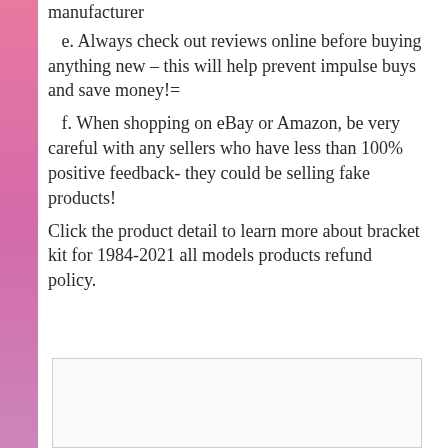manufacturer
e. Always check out reviews online before buying anything new – this will help prevent impulse buys and save money!=
f. When shopping on eBay or Amazon, be very careful with any sellers who have less than 100% positive feedback- they could be selling fake products!
Click the product detail to learn more about bracket kit for 1984-2021 all models products refund policy.
[Figure (other): Empty bordered box at the bottom of the page]